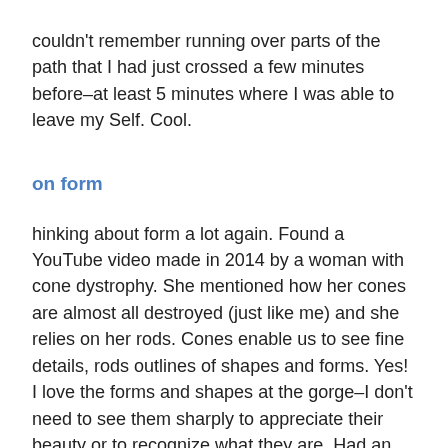couldn't remember running over parts of the path that I had just crossed a few minutes before–at least 5 minutes where I was able to leave my Self. Cool.
on form
hinking about form a lot again. Found a YouTube video made in 2014 by a woman with cone dystrophy. She mentioned how her cones are almost all destroyed (just like me) and she relies on her rods. Cones enable us to see fine details, rods outlines of shapes and forms. Yes! I love the forms and shapes at the gorge–I don't need to see them sharply to appreciate their beauty or to recognize what they are. Had an idea: what if I try to represent those forms/shapes in a poem? It could be concrete poetry or something similar. I really like the book cover for Drive Your Plow